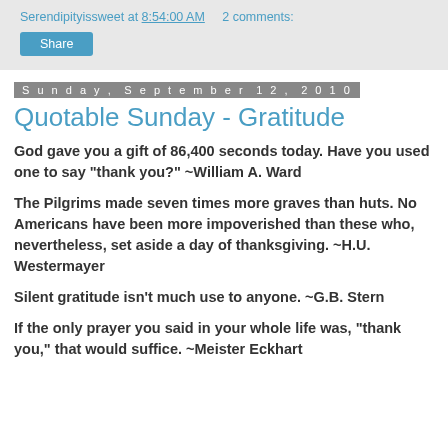Serendipityissweet at 8:54:00 AM   2 comments:
Share
Sunday, September 12, 2010
Quotable Sunday - Gratitude
God gave you a gift of 86,400 seconds today. Have you used one to say "thank you?" ~William A. Ward
The Pilgrims made seven times more graves than huts. No Americans have been more impoverished than these who, nevertheless, set aside a day of thanksgiving. ~H.U. Westermayer
Silent gratitude isn't much use to anyone. ~G.B. Stern
If the only prayer you said in your whole life was, "thank you," that would suffice. ~Meister Eckhart